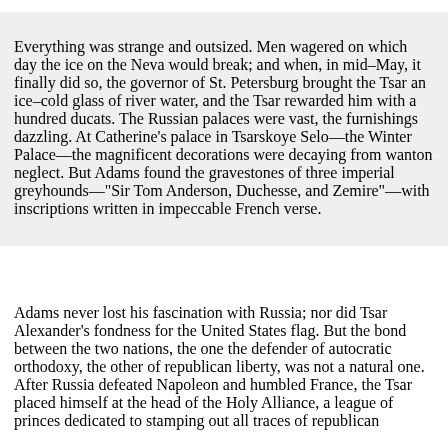Everything was strange and outsized. Men wagered on which day the ice on the Neva would break; and when, in mid–May, it finally did so, the governor of St. Petersburg brought the Tsar an ice–cold glass of river water, and the Tsar rewarded him with a hundred ducats. The Russian palaces were vast, the furnishings dazzling. At Catherine's palace in Tsarskoye Selo—the Winter Palace—the magnificent decorations were decaying from wanton neglect. But Adams found the gravestones of three imperial greyhounds—"Sir Tom Anderson, Duchesse, and Zemire"—with inscriptions written in impeccable French verse.
Adams never lost his fascination with Russia; nor did Tsar Alexander's fondness for the United States flag. But the bond between the two nations, the one the defender of autocratic orthodoxy, the other of republican liberty, was not a natural one. After Russia defeated Napoleon and humbled France, the Tsar placed himself at the head of the Holy Alliance, a league of princes dedicated to stamping out all traces of republican